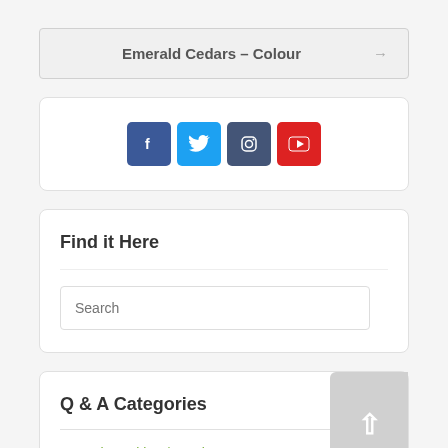Emerald Cedars – Colour →
[Figure (infographic): Social media icons: Facebook (blue), Twitter (light blue), Instagram (dark blue/slate), YouTube (red)]
Find it Here
Search
Q & A Categories
Annuals; Cultivar/Species